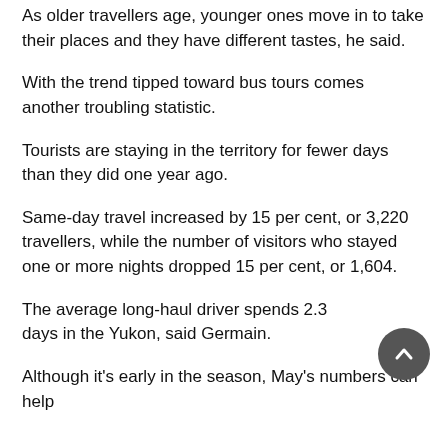As older travellers age, younger ones move in to take their places and they have different tastes, he said.
With the trend tipped toward bus tours comes another troubling statistic.
Tourists are staying in the territory for fewer days than they did one year ago.
Same-day travel increased by 15 per cent, or 3,220 travellers, while the number of visitors who stayed one or more nights dropped 15 per cent, or 1,604.
The average long-haul driver spends 2.3 days in the Yukon, said Germain.
Although it's early in the season, May's numbers can help